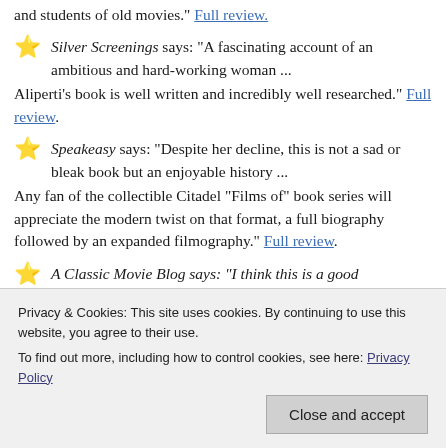and students of old movies." Full review.
Silver Screenings says: "A fascinating account of an ambitious and hard-working woman ... Aliperti's book is well written and incredibly well researched." Full review.
Speakeasy says: "Despite her decline, this is not a sad or bleak book but an enjoyable history ... Any fan of the collectible Citadel “Films of” book series will appreciate the modern twist on that format, a full biography followed by an expanded filmography." Full review
A Classic Movie Blog says: "I think this is a good...
Privacy & Cookies: This site uses cookies. By continuing to use this website, you agree to their use. To find out more, including how to control cookies, see here: Privacy Policy